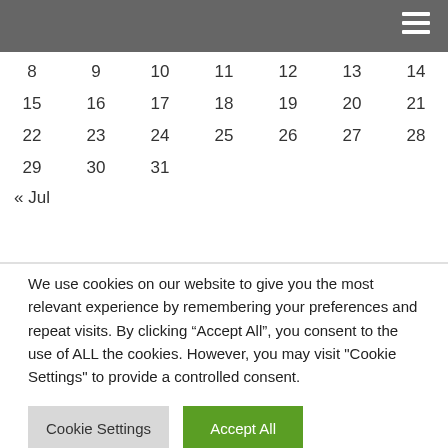Navigation menu
| 8 | 9 | 10 | 11 | 12 | 13 | 14 |
| 15 | 16 | 17 | 18 | 19 | 20 | 21 |
| 22 | 23 | 24 | 25 | 26 | 27 | 28 |
| 29 | 30 | 31 |  |  |  |  |
« Jul
We use cookies on our website to give you the most relevant experience by remembering your preferences and repeat visits. By clicking “Accept All”, you consent to the use of ALL the cookies. However, you may visit "Cookie Settings" to provide a controlled consent.
Cookie Settings | Accept All